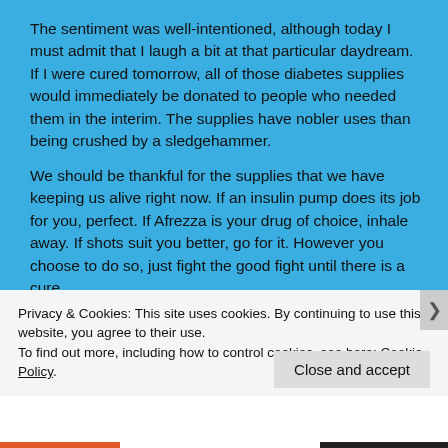The sentiment was well-intentioned, although today I must admit that I laugh a bit at that particular daydream. If I were cured tomorrow, all of those diabetes supplies would immediately be donated to people who needed them in the interim. The supplies have nobler uses than being crushed by a sledgehammer.
We should be thankful for the supplies that we have keeping us alive right now. If an insulin pump does its job for you, perfect. If Afrezza is your drug of choice, inhale away. If shots suit you better, go for it. However you choose to do so, just fight the good fight until there is a cure.
Privacy & Cookies: This site uses cookies. By continuing to use this website, you agree to their use.
To find out more, including how to control cookies, see here: Cookie Policy